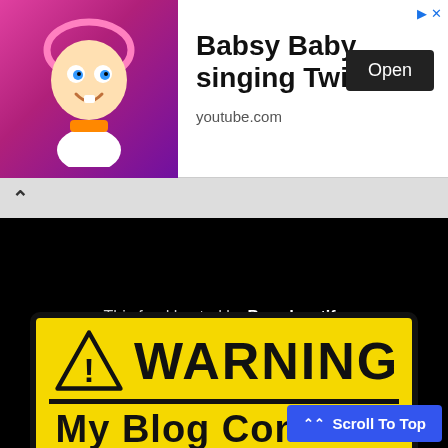[Figure (screenshot): Advertisement banner: cartoon baby character on pink sparkle background, text 'Babsy Baby singing Twinkle', 'youtube.com', Open button, and ad arrow/close icons]
[Figure (screenshot): Media player area with dark background. Top bar has a chevron-up icon. Black player area shows text: 'This feed hosted by Broadcastify']
[Figure (infographic): Yellow warning sign with black border and rounded corners. Contains a warning triangle with exclamation mark, the word WARNING in large bold text, a black divider bar, and text 'My Blog Contains' in large bold black text on yellow background.]
Scroll To Top